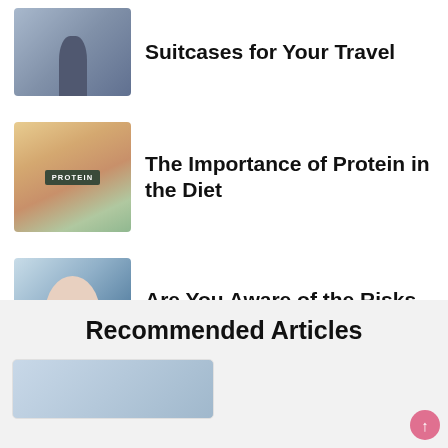[Figure (photo): Person with suitcase at travel location]
Suitcases for Your Travel
[Figure (photo): Various protein foods with a chalkboard sign saying PROTEIN]
The Importance of Protein in the Diet
[Figure (photo): Man smiling in dental chair]
Are You Aware of the Risks of Missing Teeth?
Recommended Articles
[Figure (photo): Partial recommended article card image]